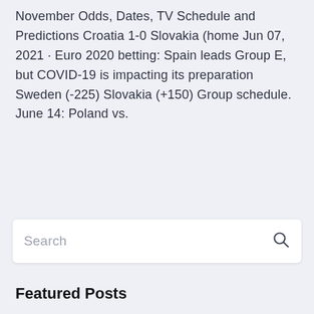November Odds, Dates, TV Schedule and Predictions Croatia 1-0 Slovakia (home Jun 07, 2021 · Euro 2020 betting: Spain leads Group E, but COVID-19 is impacting its preparation Sweden (-225) Slovakia (+150) Group schedule. June 14: Poland vs.
Search
Featured Posts